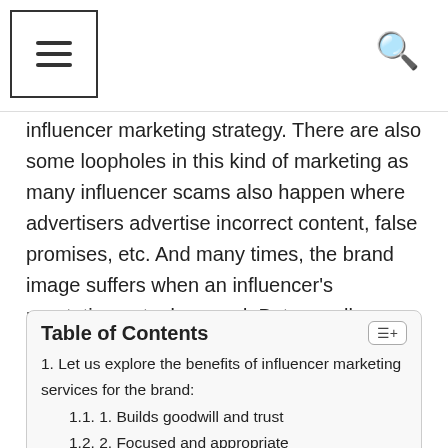Navigation menu and search icon
influencer marketing strategy. There are also some loopholes in this kind of marketing as many influencer scams also happen where advertisers advertise incorrect content, false promises, etc. And many times, the brand image suffers when an influencer's reputation gets damaged. But overall, influencer marketing services have helped the brand uplift the product market.
| Table of Contents |
| --- |
| 1. Let us explore the benefits of influencer marketing services for the brand: |
| 1.1. 1. Builds goodwill and trust |
| 1.2. 2. Focused and appropriate |
| 1.3. 3. Isn't aggressive |
| 1.4. 4. Offer value to community |